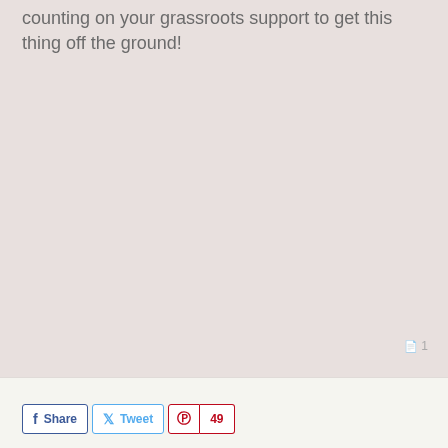counting on your grassroots support to get this thing off the ground!
1
Share  Tweet  49